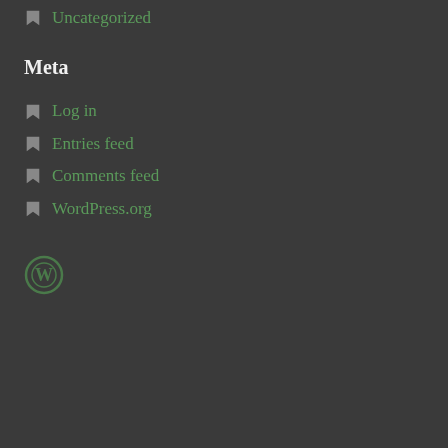Uncategorized
Meta
Log in
Entries feed
Comments feed
WordPress.org
[Figure (logo): WordPress circular logo in green outline style]